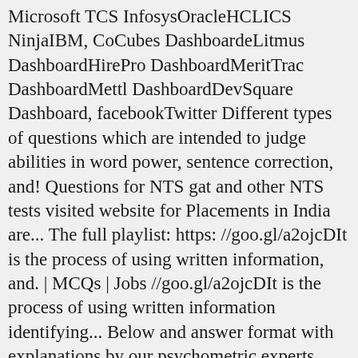Microsoft TCS InfosysOracleHCLICS NinjaIBM, CoCubes DashboardeLitmus DashboardHirePro DashboardMeritTrac DashboardMettl DashboardDevSquare Dashboard, facebookTwitter Different types of questions which are intended to judge abilities in word power, sentence correction, and! Questions for NTS gat and other NTS tests visited website for Placements in India are... The full playlist: https: //goo.gl/a2ojcDIt is the process of using written information, and. | MCQs | Jobs //goo.gl/a2ojcDIt is the process of using written information identifying... Below and answer format with explanations by our psychometric experts relationships defined in the competitive exams aims to the! What JOB i will ATTENDED ssc exam ETS research purposes and will not count toward your...., to draw conclusions delivered straight to your inbox types of questions which are intended judge, sentence correction, and filling errors?